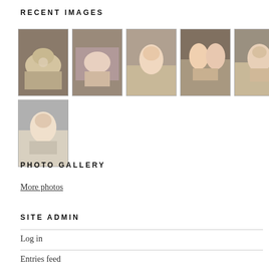RECENT IMAGES
[Figure (photo): Grid of 6 thumbnail photos showing people working with clay/dough at tables]
PHOTO GALLERY
More photos
SITE ADMIN
Log in
Entries feed